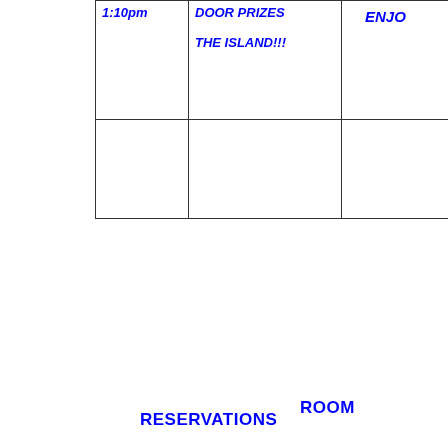| Time | Event | Note |
| --- | --- | --- |
| 1:10pm | DOOR PRIZES

THE ISLAND!!! | ENJO |
|  |  |  |
RESERVATIONS
ROOM